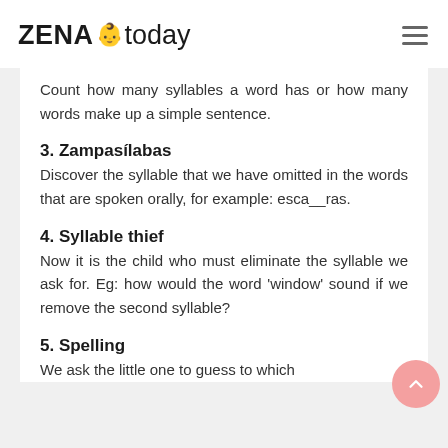ZENA today
Count how many syllables a word has or how many words make up a simple sentence.
3. Zampasílabas
Discover the syllable that we have omitted in the words that are spoken orally, for example: esca__ras.
4. Syllable thief
Now it is the child who must eliminate the syllable we ask for. Eg: how would the word 'window' sound if we remove the second syllable?
5. Spelling
We ask the little one to guess to which